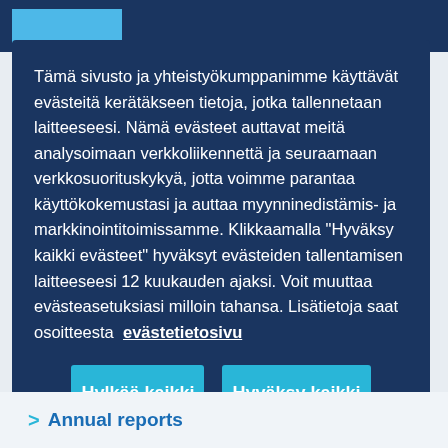Tämä sivusto ja yhteistyökumppanimme käyttävät evästeitä kerätäkseen tietoja, jotka tallennetaan laitteeseesi. Nämä evästeet auttavat meitä analysoimaan verkkoliikennettä ja seuraamaan verkkosuorituskykyä, jotta voimme parantaa käyttökokemustasi ja auttaa myynninedistämis- ja markkinointitoimissamme. Klikkaamalla "Hyväksy kaikki evästeet" hyväksyt evästeiden tallentamisen laitteeseesi 12 kuukauden ajaksi. Voit muuttaa evästeasetuksiasi milloin tahansa. Lisätietoja saat osoitteesta evästetietosivu
Hylkää kaikki
Hyväksy kaikki
Annual reports